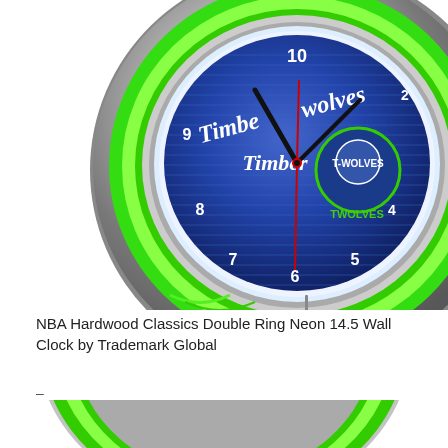[Figure (photo): NBA Minnesota Timberwolves Hardwood Classics Double Ring Neon 14.5 Wall Clock with green neon ring, chrome frame, and blue clock face showing the Timberwolves logo and script lettering. Clock hands visible, partial top view.]
NBA Hardwood Classics Double Ring Neon 14.5 Wall Clock by Trademark Global
-
[Figure (photo): Bottom portion of a second NBA Timberwolves neon wall clock showing the green neon ring and chrome outer frame from a slightly different angle.]